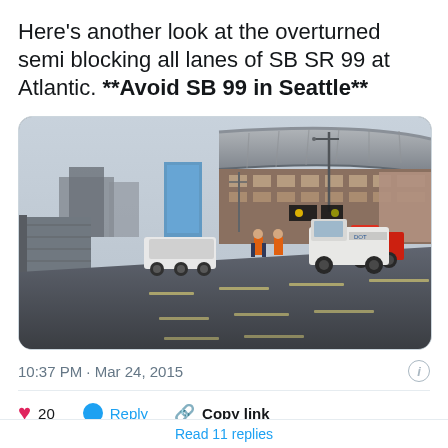Here's another look at the overturned semi blocking all lanes of SB SR 99 at Atlantic. **Avoid SB 99 in Seattle**
[Figure (photo): Photo of an overturned semi-truck on SB SR 99 near Atlantic in Seattle, with emergency vehicles and workers visible. A large stadium (CenturyLink Field) is visible in the background on the right, along with other buildings. The road has multiple lanes visible.]
10:37 PM · Mar 24, 2015
20   Reply   Copy link